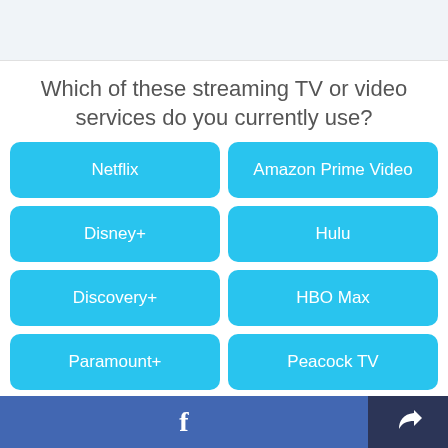[Figure (screenshot): Top banner area with light gray background]
Which of these streaming TV or video services do you currently use?
Netflix
Amazon Prime Video
Disney+
Hulu
Discovery+
HBO Max
Paramount+
Peacock TV
Other
None of these
f [Facebook share button] [Share button]